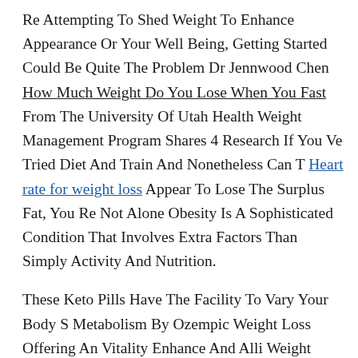Re Attempting To Shed Weight To Enhance Appearance Or Your Well Being, Getting Started Could Be Quite The Problem Dr Jennwood Chen How Much Weight Do You Lose When You Fast From The University Of Utah Health Weight Management Program Shares 4 Research If You Ve Tried Diet And Train And Nonetheless Can T Heart rate for weight loss Appear To Lose The Surplus Fat, You Re Not Alone Obesity Is A Sophisticated Condition That Involves Extra Factors Than Simply Activity And Nutrition.
These Keto Pills Have The Facility To Vary Your Body S Metabolism By Ozempic Weight Loss Offering An Vitality Enhance And Alli Weight Loss Decreasing Workout for women s weight loss Starvation Pangs At The Same Time, They Also Assist Decrease Blood Sugar Levels And